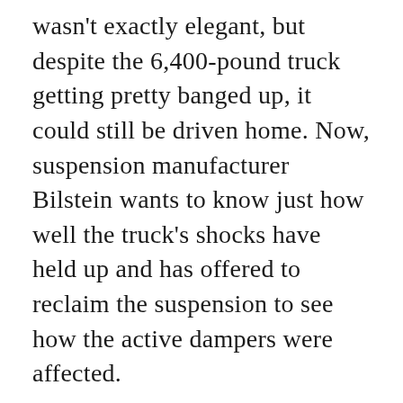wasn't exactly elegant, but despite the 6,400-pound truck getting pretty banged up, it could still be driven home. Now, suspension manufacturer Bilstein wants to know just how well the truck's shocks have held up and has offered to reclaim the suspension to see how the active dampers were affected.